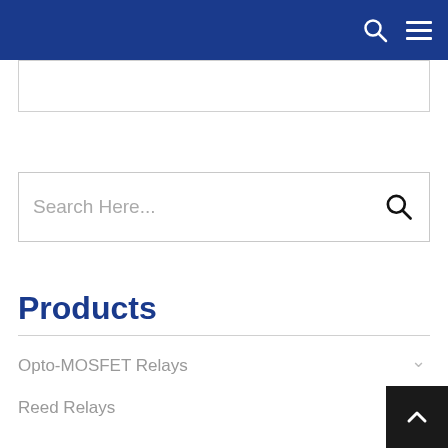[Figure (screenshot): Blue navigation bar with search icon and hamburger menu icon on the right]
[Figure (screenshot): Empty white search/input box with border]
[Figure (screenshot): Search bar with placeholder text 'Search Here...' and a magnifying glass icon on the right]
Products
Opto-MOSFET Relays
Reed Relays